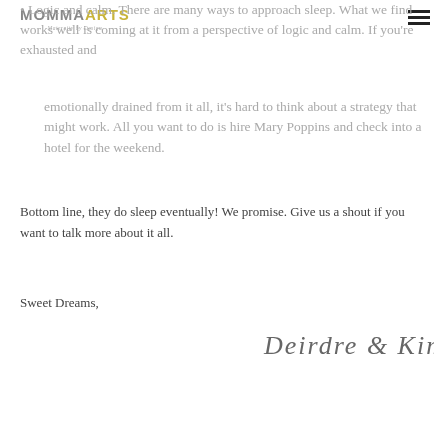MOMMAARTS Maternity by Design
Logic and calm. There are many ways to approach sleep. What we find works well is coming at it from a perspective of logic and calm. If you're exhausted and emotionally drained from it all, it's hard to think about a strategy that might work. All you want to do is hire Mary Poppins and check into a hotel for the weekend.
Bottom line, they do sleep eventually! We promise. Give us a shout if you want to talk more about it all.
Sweet Dreams,
[Figure (illustration): Handwritten cursive signature reading 'Deirdre & Kim']